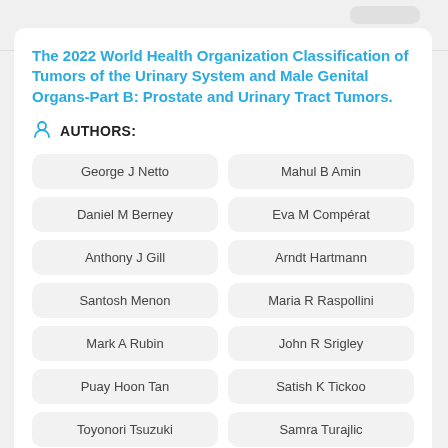The 2022 World Health Organization Classification of Tumors of the Urinary System and Male Genital Organs-Part B: Prostate and Urinary Tract Tumors.
AUTHORS:
George J Netto
Mahul B Amin
Daniel M Berney
Eva M Compérat
Anthony J Gill
Arndt Hartmann
Santosh Menon
Maria R Raspollini
Mark A Rubin
John R Srigley
Puay Hoon Tan
Satish K Tickoo
Toyonori Tsuzuki
Samra Turajlic